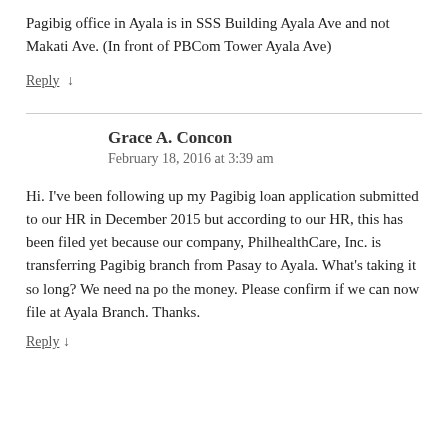Pagibig office in Ayala is in SSS Building Ayala Ave and not Makati Ave. (In front of PBCom Tower Ayala Ave)
Reply ↓
Grace A. Concon
February 18, 2016 at 3:39 am
Hi. I've been following up my Pagibig loan application submitted to our HR in December 2015 but according to our HR, this has been filed yet because our company, PhilhealthCare, Inc. is transferring Pagibig branch from Pasay to Ayala. What's taking it so long? We need na po the money. Please confirm if we can now file at Ayala Branch. Thanks.
Reply ↓